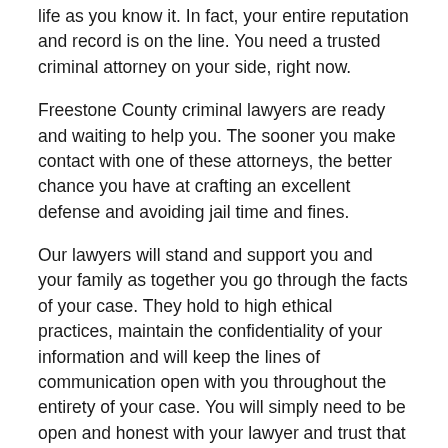life as you know it. In fact, your entire reputation and record is on the line. You need a trusted criminal attorney on your side, right now.
Freestone County criminal lawyers are ready and waiting to help you. The sooner you make contact with one of these attorneys, the better chance you have at crafting an excellent defense and avoiding jail time and fines.
Our lawyers will stand and support you and your family as together you go through the facts of your case. They hold to high ethical practices, maintain the confidentiality of your information and will keep the lines of communication open with you throughout the entirety of your case. You will simply need to be open and honest with your lawyer and trust that they are giving you the proper advice for your case. Don't delay if you have a criminal charge that has recently come about. Call today for a free initial consultation.
Our Freestone County Attorney Areas of